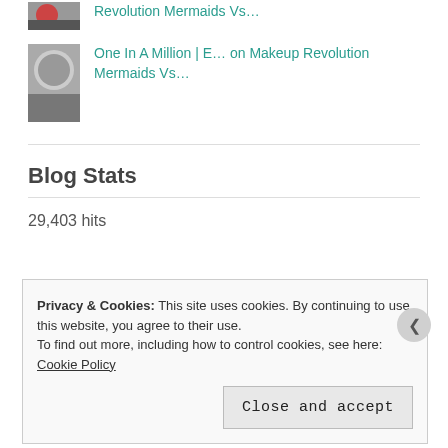Revolution Mermaids Vs...
One In A Million | E... on Makeup Revolution Mermaids Vs...
Blog Stats
29,403 hits
Privacy & Cookies: This site uses cookies. By continuing to use this website, you agree to their use.
To find out more, including how to control cookies, see here: Cookie Policy
Close and accept